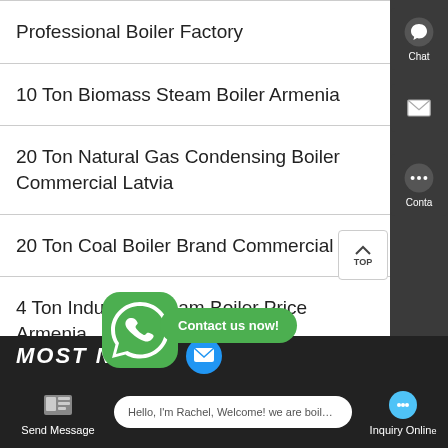Professional Boiler Factory
10 Ton Biomass Steam Boiler Armenia
20 Ton Natural Gas Condensing Boiler Commercial Latvia
20 Ton Coal Boiler Brand Commercial
4 Ton Industrial Steam Boiler Price Armenia
Industrial 1 Ton Oil B... Be...
[Figure (screenshot): WhatsApp icon popup with green background]
Contact us now!
Hello, I'm Rachel, Welcome! we are boiler factory!
Send Message
Inquiry Online